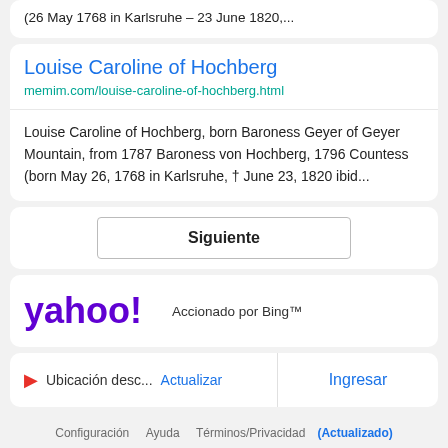(26 May 1768 in Karlsruhe – 23 June 1820,...
Louise Caroline of Hochberg
memim.com/louise-caroline-of-hochberg.html
Louise Caroline of Hochberg, born Baroness Geyer of Geyer Mountain, from 1787 Baroness von Hochberg, 1796 Countess (born May 26, 1768 in Karlsruhe, † June 23, 1820 ibid...
Siguiente
[Figure (logo): Yahoo! logo in purple with exclamation mark, followed by text 'Accionado por Bing™']
Ubicación desc... Actualizar   Ingresar
Configuración   Ayuda   Términos/Privacidad (Actualizado)   Privacy Dashboard